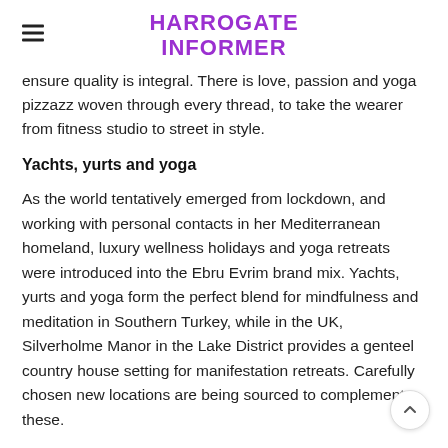HARROGATE INFORMER
ensure quality is integral. There is love, passion and yoga pizzazz woven through every thread, to take the wearer from fitness studio to street in style.
Yachts, yurts and yoga
As the world tentatively emerged from lockdown, and working with personal contacts in her Mediterranean homeland, luxury wellness holidays and yoga retreats were introduced into the Ebru Evrim brand mix. Yachts, yurts and yoga form the perfect blend for mindfulness and meditation in Southern Turkey, while in the UK, Silverholme Manor in the Lake District provides a genteel country house setting for manifestation retreats. Carefully chosen new locations are being sourced to complement these.